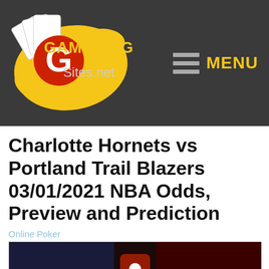[Figure (logo): GamblingSites.net logo with playing cards and yellow paint splash on dark background]
[Figure (other): Hamburger menu icon with three horizontal lines and MENU text in yellow]
Charlotte Hornets vs Portland Trail Blazers 03/01/2021 NBA Odds, Preview and Prediction
Online Poker
[Figure (photo): Split image showing Charlotte Hornets logo on left with teal/purple arena background, NBA logo in center, and Portland Trail Blazers logo on right with red arena background]